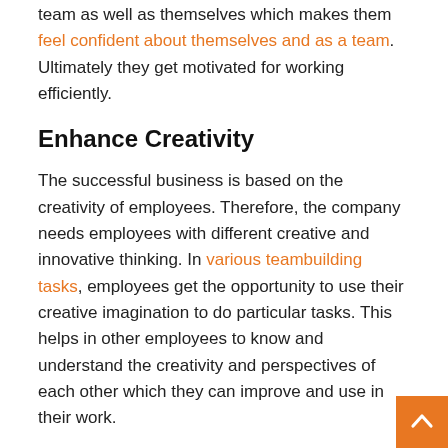team as well as themselves which makes them feel confident about themselves and as a team. Ultimately they get motivated for working efficiently.
Enhance Creativity
The successful business is based on the creativity of employees. Therefore, the company needs employees with different creative and innovative thinking. In various teambuilding tasks, employees get the opportunity to use their creative imagination to do particular tasks. This helps in other employees to know and understand the creativity and perspectives of each other which they can improve and use in their work.